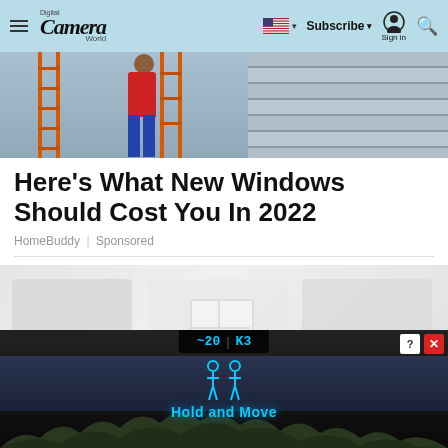Digital Camera World — Navigate, Subscribe, Sign in, Search
[Figure (photo): Person on an orange ladder against house siding, working on window installation or repair]
Here's What New Windows Should Cost You In 2022
HomeBuddy | Sponsored
[Figure (photo): Blurred advertisement content area, partially obscured]
[Figure (screenshot): Bottom advertisement overlay showing scoreboard-style display with '~20 | K3' score, two people icon, and 'Hold and Move' text with trees in background. Has help (?) and close (X) buttons.]